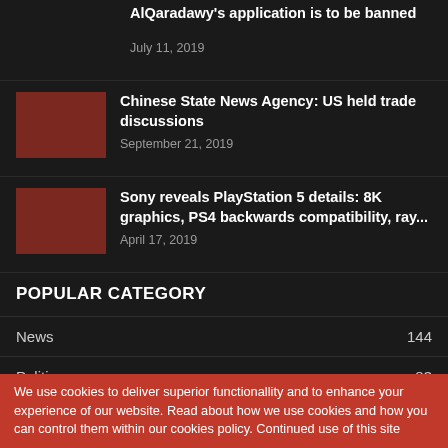AlQaradawy's application is to be banned
July 11, 2019
Chinese State News Agency: US held trade discussions
September 21, 2019
Sony reveals PlayStation 5 details: 8K graphics, PS4 backwards compatibility, ray...
April 17, 2019
POPULAR CATEGORY
News 144
Politics 83
We use cookies to deliver superior functionallity and to enhance your experience of our website. Read about how we use cookies and how you can control them within our cookies policy. Continued use of this site